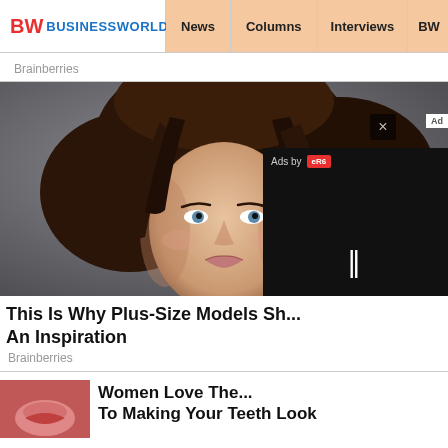BW BUSINESSWORLD | News | Columns | Interviews | BW
Brainberries
[Figure (photo): Portrait of a young woman with long dark wavy hair and blue eyes against a grey background]
This Is Why Plus-Size Models Sh... An Inspiration
Brainberries
[Figure (other): Video ad overlay with close button (×), Ad badge, Ads by logo, and pause button (||) on black background]
Women Love The... To Making Your Teeth Look
[Figure (photo): Close-up of lips thumbnail image]